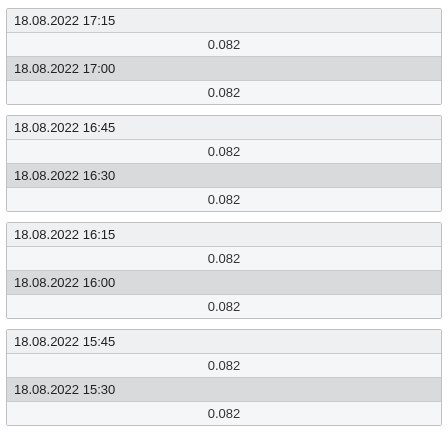| 18.08.2022 17:15 |  |
|  | 0.082 |
| 18.08.2022 17:00 |  |
|  | 0.082 |
| 18.08.2022 16:45 |  |
|  | 0.082 |
| 18.08.2022 16:30 |  |
|  | 0.082 |
| 18.08.2022 16:15 |  |
|  | 0.082 |
| 18.08.2022 16:00 |  |
|  | 0.082 |
| 18.08.2022 15:45 |  |
|  | 0.082 |
| 18.08.2022 15:30 |  |
|  | 0.082 |